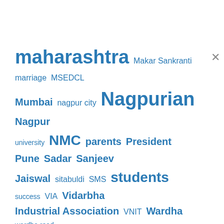[Figure (infographic): A word cloud / tag cloud showing terms related to Nagpur news in blue, with varying font sizes indicating frequency. Terms include: maharashtra, Makar Sankranti, marriage, MSEDCL, Mumbai, nagpur city, Nagpurian, Nagpur university, NMC, parents, President, Pune, Sadar, Sanjeev Jaiswal, sitabuldi, SMS, students, success, VIA, Vidarbha Industrial Association, VNIT, Wardha, wardha road. A close (x) button appears at the top right.]